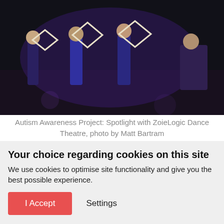[Figure (photo): Performance photo showing young people holding geometric white frames on a dark stage with purple lighting, as part of the Autism Awareness Project: Spotlight with ZoieLogic Dance Theatre]
Autism Awareness Project: Spotlight with ZoieLogic Dance Theatre, photo by Matt Bartram
Being Aspergic is, quite simply, one way of saying that I experience everyday things in very extreme ways. My brain has a somewhat more complicated structure
Your choice regarding cookies on this site
We use cookies to optimise site functionality and give you the best possible experience.
I Accept
Settings